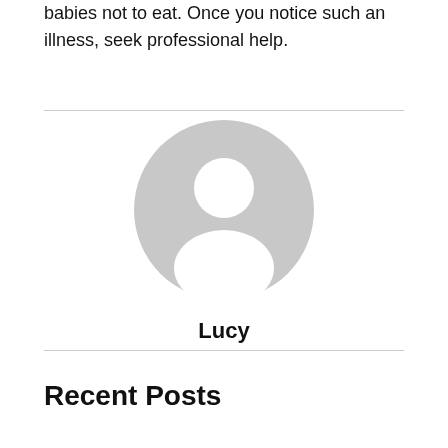babies not to eat. Once you notice such an illness, seek professional help.
[Figure (illustration): Generic user avatar placeholder image: a grey circle with a white silhouette of a person (head and shoulders)]
Lucy
Recent Posts